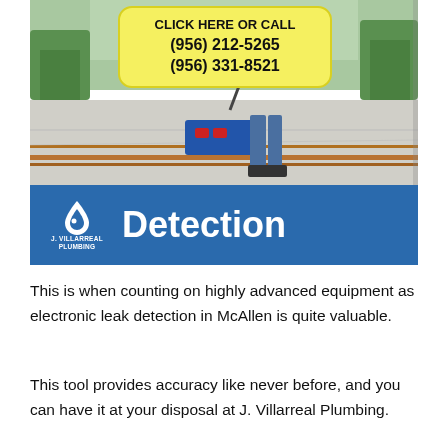[Figure (photo): Photo of a person using electronic leak detection equipment on a flat roof surface with copper pipes, with a yellow call-out box overlay showing phone numbers. Below the photo is a blue banner with J. Villarreal Plumbing logo and the word 'Detection'.]
CLICK HERE OR CALL
(956) 212-5265
(956) 331-8521
J. VILLARREAL PLUMBING
Detection
This is when counting on highly advanced equipment as electronic leak detection in McAllen is quite valuable.
This tool provides accuracy like never before, and you can have it at your disposal at J. Villarreal Plumbing.